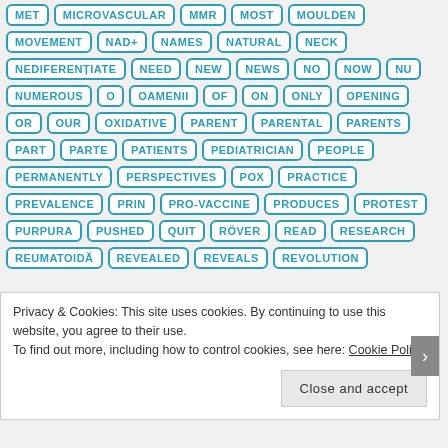MET
MICROVASCULAR
MMR
MOST
MOULDEN
MOVEMENT
NAD+
NAMES
NATURAL
NECK
NEDIFERENȚIATE
NEED
NEW
NEWS
NO
NOW
NU
NUMEROUS
O
OAMENII
OF
ON
ONLY
OPENING
OR
OUR
OXIDATIVE
PARENT
PARENTAL
PARENTS
PART
PARTE
PATIENTS
PEDIATRICIAN
PEOPLE
PERMANENTLY
PERSPECTIVES
POX
PRACTICE
PREVALENCE
PRIN
PRO-VACCINE
PRODUCES
PROTEST
PURPURA
PUSHED
QUIT
RÖVER
READ
RESEARCH
REUMATOIDĂ
REVEALED
REVEALS
REVOLUTION
Privacy & Cookies: This site uses cookies. By continuing to use this website, you agree to their use. To find out more, including how to control cookies, see here: Cookie Policy
Close and accept